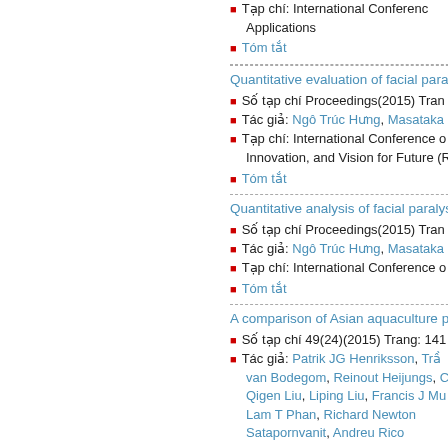Tạp chí: International Conference Applications
Tóm tắt
Quantitative evaluation of facial paral...
Số tạp chí Proceedings(2015) Tran...
Tác giả: Ngô Trúc Hưng, Masataka...
Tạp chí: International Conference on Innovation, and Vision for Future (R...
Tóm tắt
Quantitative analysis of facial paralys...
Số tạp chí Proceedings(2015) Tran...
Tác giả: Ngô Trúc Hưng, Masataka...
Tạp chí: International Conference o...
Tóm tắt
A comparison of Asian aquaculture pr...
Số tạp chí 49(24)(2015) Trang: 141...
Tác giả: Patrik JG Henriksson, Trần..., van Bodegom, Reinout Heijungs, C..., Qigen Liu, Liping Liu, Francis J Mu..., Lam T Phan, Richard Newton..., Satapornvanit, Andreu Rico
Tạp chí: Environmental Science & T...
Tóm tắt
Impact of access to credit on Multidim... Delta of Vietnam